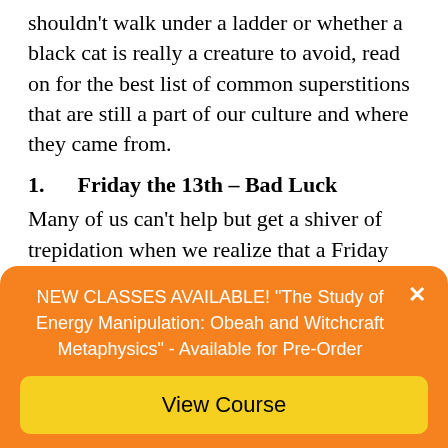shouldn't walk under a ladder or whether a black cat is really a creature to avoid, read on for the best list of common superstitions that are still a part of our culture and where they came from.
1.   Friday the 13th – Bad Luck
Many of us can't help but get a shiver of trepidation when we realize that a Friday the 13th is lurking within the current month. A fear of the number 13 is one of the most common superstitions around, and is so widespread that many apartments and hotels omit the 13th floor and some airlines fly
have one anxiety day of the year.
NEW CLASSES AVAILABLE! "The Study of Energy Manipulation: Obeah and Witchcraft Metaphysics" - Available for Pre-Order
View Course